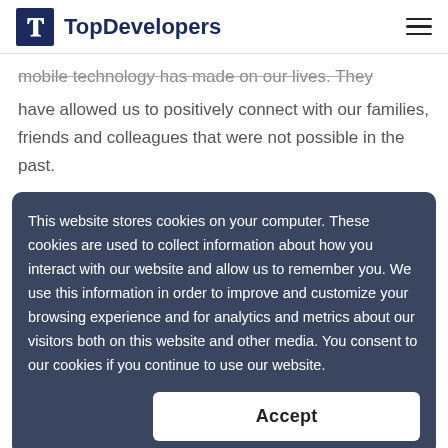TopDevelopers
mobile technology has made on our lives. They have allowed us to positively connect with our families, friends and colleagues that were not possible in the past.
This website stores cookies on your computer. These cookies are used to collect information about how you interact with our website and allow us to remember you. We use this information in order to improve and customize your browsing experience and for analytics and metrics about our visitors both on this website and other media. You consent to our cookies if you continue to use our website.
Accept
spectacular as it was supposed to be. The devices